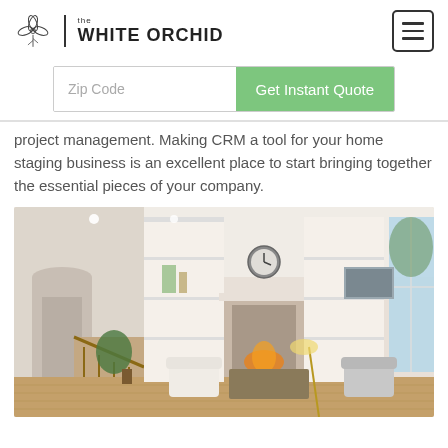the WHITE ORCHID
Zip Code | Get Instant Quote
project management. Making CRM a tool for your home staging business is an excellent place to start bringing together the essential pieces of your company.
[Figure (photo): A staged living room with white built-in bookshelves flanking a fireplace, white armchairs, a clock on the wall, hardwood floors, and large windows with natural light.]